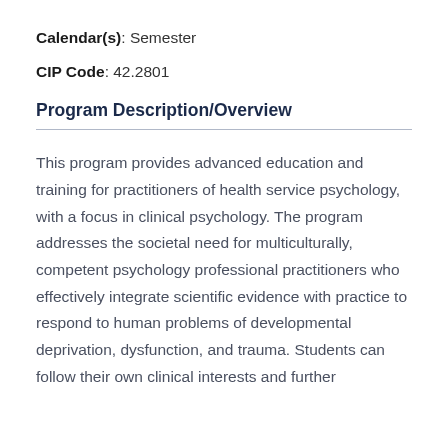Calendar(s): Semester
CIP Code: 42.2801
Program Description/Overview
This program provides advanced education and training for practitioners of health service psychology, with a focus in clinical psychology. The program addresses the societal need for multiculturally, competent psychology professional practitioners who effectively integrate scientific evidence with practice to respond to human problems of developmental deprivation, dysfunction, and trauma. Students can follow their own clinical interests and further